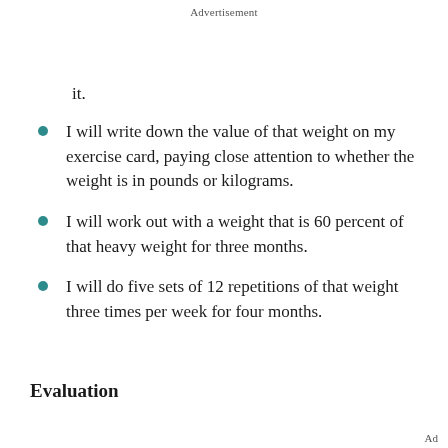Advertisement
it.
I will write down the value of that weight on my exercise card, paying close attention to whether the weight is in pounds or kilograms.
I will work out with a weight that is 60 percent of that heavy weight for three months.
I will do five sets of 12 repetitions of that weight three times per week for four months.
Evaluation
Ad